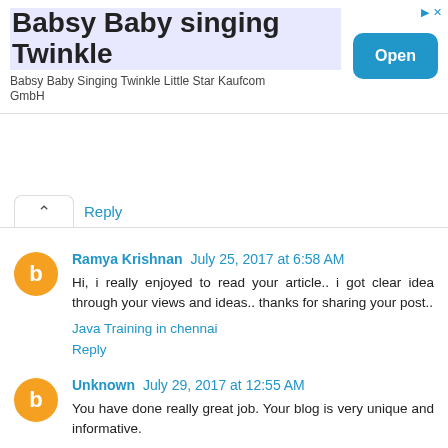[Figure (screenshot): Advertisement banner: 'Babsy Baby singing Twinkle' with subtitle 'Babsy Baby Singing Twinkle Little Star Kaufcom GmbH' and a blue 'Open' button]
↑ Reply
Ramya Krishnan July 25, 2017 at 6:58 AM
Hi, i really enjoyed to read your article.. i got clear idea through your views and ideas.. thanks for sharing your post..
Java Training in chennai
Reply
Unknown July 29, 2017 at 12:55 AM
You have done really great job. Your blog is very unique and informative.
CCNA Training in Chennai | Best CCNA Training in Chennai | CCNA Certification Training in Chennai | Online